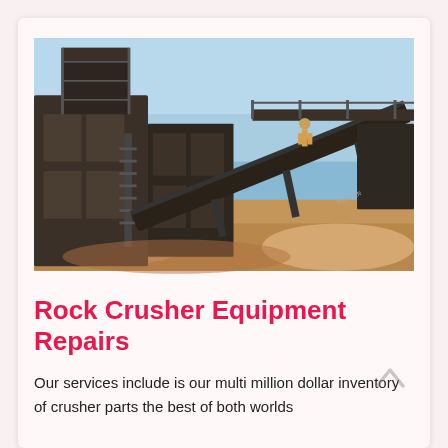[Figure (photo): Outdoor photograph of a large rock crusher machine with conveyor belts and metal scaffolding/stairs. Workers visible on the structure. Sandy/rocky ground in the foreground under a clear blue sky.]
Rock Crusher Equipment Repairs
Our services include is our multi million dollar inventory of crusher parts the best of both worlds